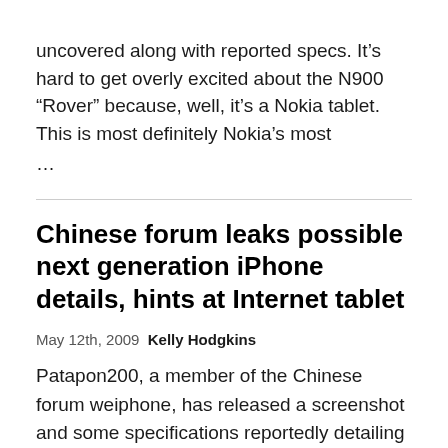uncovered along with reported specs. It's hard to get overly excited about the N900 "Rover" because, well, it's a Nokia tablet. This is most definitely Nokia's most …
Chinese forum leaks possible next generation iPhone details, hints at Internet tablet
May 12th, 2009 Kelly Hodgkins
Patapon200, a member of the Chinese forum weiphone, has released a screenshot and some specifications reportedly detailing the next generation iPhone. Expected to be announced at the upcoming WWDC, the new iPhone is rumored to have: 600MHz CPU (up from 400MHz) 256MB RAM (up from 128MB)